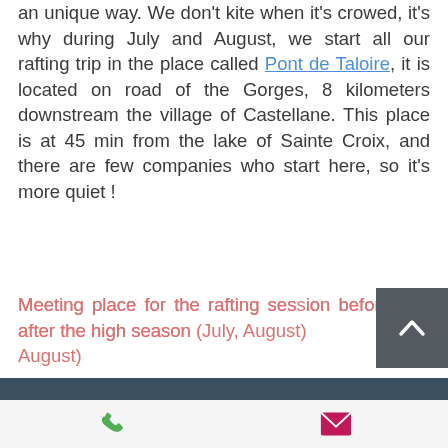an unique way. We don't kite when it's crowed, it's why during July and August, we start all our rafting trip in the place called Pont de Taloire, it is located on road of the Gorges, 8 kilometers downstream the village of Castellane. This place is at 45 min from the lake of Sainte Croix, and there are few companies who start here, so it's more quiet !
Meeting place for the rafting session before and after the high season (July, August)
According to your expectation, we can start from the village of Castellane, we start on the place close to the swimming_pool of Castellane. The trip is a discovery trip.